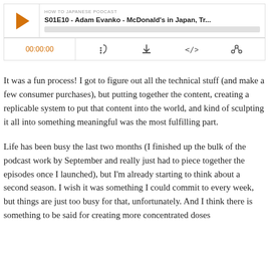[Figure (screenshot): Podcast player widget showing 'HOW TO JAPANESE PODCAST' with episode title 'S01E10 - Adam Evanko - McDonald's in Japan, Tr...' with play button, progress bar, time display 00:00:00, and control icons for subscribe, download, embed, and share.]
It was a fun process! I got to figure out all the technical stuff (and make a few consumer purchases), but putting together the content, creating a replicable system to put that content into the world, and kind of sculpting it all into something meaningful was the most fulfilling part.
Life has been busy the last two months (I finished up the bulk of the podcast work by September and really just had to piece together the episodes once I launched), but I'm already starting to think about a second season. I wish it was something I could commit to every week, but things are just too busy for that, unfortunately. And I think there is something to be said for creating more concentrated doses